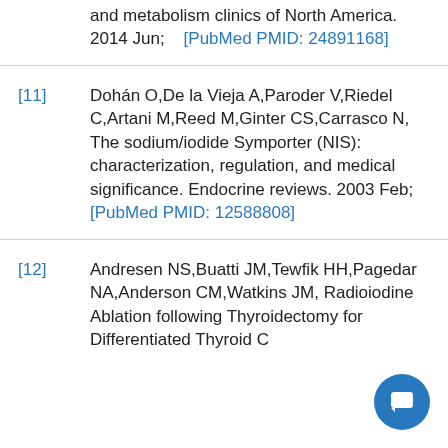and metabolism clinics of North America. 2014 Jun; [PubMed PMID: 24891168]
[11] Dohán O,De la Vieja A,Paroder V,Riedel C,Artani M,Reed M,Ginter CS,Carrasco N, The sodium/iodide Symporter (NIS): characterization, regulation, and medical significance. Endocrine reviews. 2003 Feb; [PubMed PMID: 12588808]
[12] Andresen NS,Buatti JM,Tewfik HH,Pagedar NA,Anderson CM,Watkins JM, Radioiodine Ablation following Thyroidectomy for Differentiated Thyroid C...